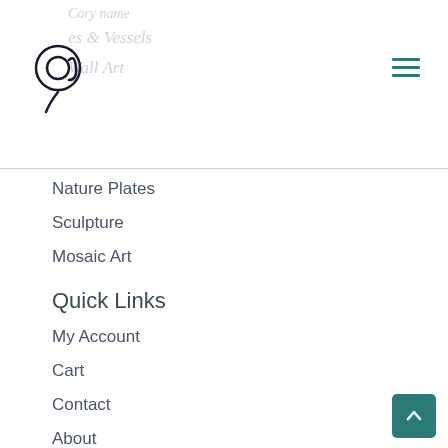@ logo with faded text: Bowls & Vessels, Wall Art
Nature Plates
Sculpture
Mosaic Art
Quick Links
My Account
Cart
Contact
About
Testimonials
Terms